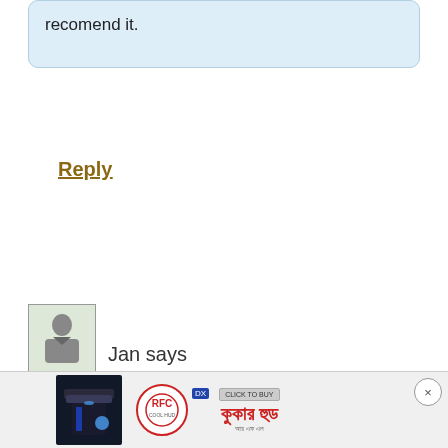recomend it.
Reply
Jan says
[Figure (photo): Advertisement banner at the bottom of a webpage showing a kitchen hood product, RFC logo badge, a click to buy button, and Bengali text for a brand name. Includes a close button on the right.]